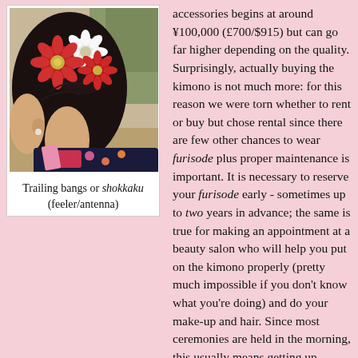[Figure (photo): Close-up photo of a young Japanese woman's head from behind, showing an elaborate updo hairstyle with large red and white chrysanthemum flower accessories. She is wearing a dark blue kimono with floral accents visible at the shoulder. The background shows outdoor scenery.]
Trailing bangs or shokkaku (feeler/antenna)
accessories begins at around ¥100,000 (£700/$915) but can go far higher depending on the quality. Surprisingly, actually buying the kimono is not much more: for this reason we were torn whether to rent or buy but chose rental since there are few other chances to wear furisode plus proper maintenance is important. It is necessary to reserve your furisode early - sometimes up to two years in advance; the same is true for making an appointment at a beauty salon who will help you put on the kimono properly (pretty much impossible if you don't know what you're doing) and do your make-up and hair. Since most ceremonies are held in the morning, this usually means getting up incredibly early; by midday most of the girls are almost keeling